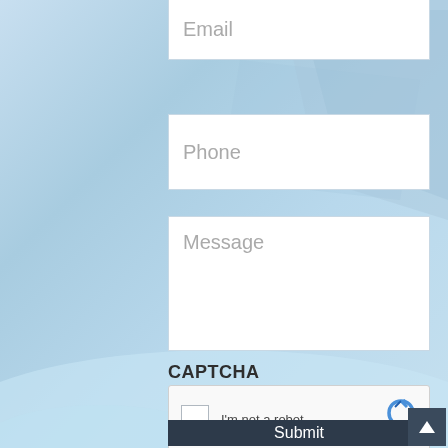[Figure (screenshot): Contact form with light blue geometric background. Shows Email field (partially visible at top), Phone field, Message textarea, CAPTCHA section with reCAPTCHA widget, and Submit button at bottom.]
Email
Phone
Message
CAPTCHA
I'm not a robot
reCAPTCHA
Privacy - Terms
Submit